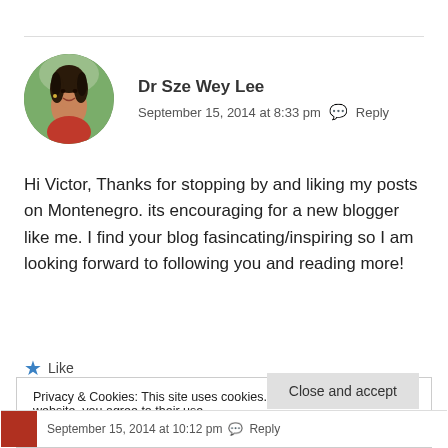[Figure (photo): Circular avatar photo of Dr Sze Wey Lee, a woman with dark hair]
Dr Sze Wey Lee
September 15, 2014 at 8:33 pm  Reply
Hi Victor, Thanks for stopping by and liking my posts on Montenegro. its encouraging for a new blogger like me. I find your blog fasincating/inspiring so I am looking forward to following you and reading more!
Like
Privacy & Cookies: This site uses cookies. By continuing to use this website, you agree to their use.
To find out more, including how to control cookies, see here: Cookie Policy
Close and accept
September 15, 2014 at 10:12 pm  Reply